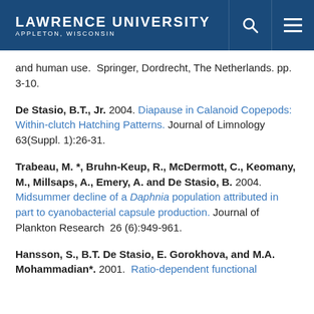Lawrence University — Appleton, Wisconsin
and human use.  Springer, Dordrecht, The Netherlands. pp. 3-10.
De Stasio, B.T., Jr. 2004. Diapause in Calanoid Copepods: Within-clutch Hatching Patterns. Journal of Limnology 63(Suppl. 1):26-31.
Trabeau, M. *, Bruhn-Keup, R., McDermott, C., Keomany, M., Millsaps, A., Emery, A. and De Stasio, B. 2004. Midsummer decline of a Daphnia population attributed in part to cyanobacterial capsule production. Journal of Plankton Research  26 (6):949-961.
Hansson, S., B.T. De Stasio, E. Gorokhova, and M.A. Mohammadian*. 2001.  Ratio-dependent functional